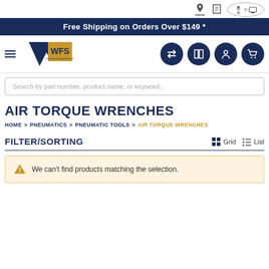Free Shipping on Orders Over $149 *
[Figure (logo): WFS Industry's Supply Partner logo with navigation icons]
Search by part number, product name, or keyword...
AIR TORQUE WRENCHES
HOME > PNEUMATICS > PNEUMATIC TOOLS > AIR TORQUE WRENCHES
FILTER/SORTING
We can't find products matching the selection.